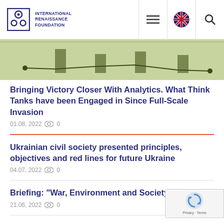International Renaissance Foundation — navigation header
[Figure (photo): Partial view of a light green background image with dark green bar chart elements and line/dot overlays visible at bottom portion of hero image.]
Bringing Victory Closer With Analytics. What Think Tanks have been Engaged in Since Full-Scale Invasion
01.08, 2022  0
Ukrainian civil society presented principles, objectives and red lines for future Ukraine
04.07, 2022  0
Briefing: "War, Environment and Society"
21.06, 2022  0
The results of the second wave in the "Hold th... call for proposals